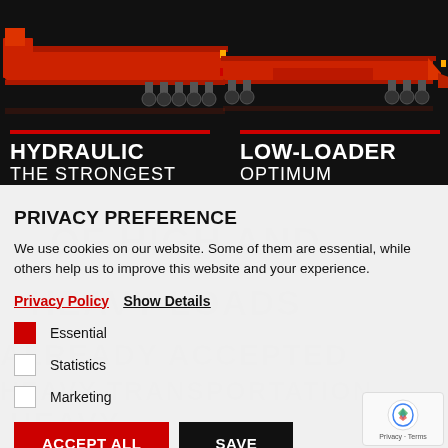[Figure (photo): Black background banner showing two red heavy transport trailers/low-loaders side by side]
HYDRAULIC
THE STRONGEST
LINK IN YOUR
LOW-LOADER
OPTIMUM
TRANSPORTATION
PRIVACY PREFERENCE
We use cookies on our website. Some of them are essential, while others help us to improve this website and your experience.
Privacy Policy  Show Details
Essential
Statistics
Marketing
ACCEPT ALL   SAVE